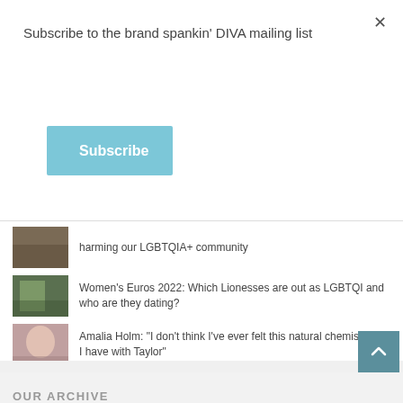Subscribe to the brand spankin' DIVA mailing list
Subscribe
harming our LGBTQIA+ community
Women's Euros 2022: Which Lionesses are out as LGBTQI and who are they dating?
Amalia Holm: "I don't think I've ever felt this natural chemistry, as I have with Taylor"
Our Flag Means Death: Here's what UK viewers have to look forward to
A brief look at Sarah Paulson's dating history
OUR ARCHIVE